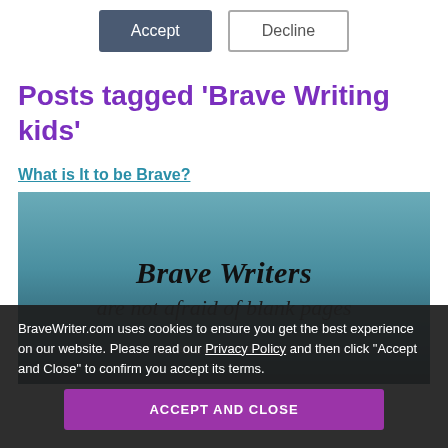Accept | Decline
Posts tagged 'Brave Writing kids'
What is It to be Brave?
[Figure (illustration): Teal/dark gradient background image with cursive text reading 'Brave Writers are not afraid of blank pages' and watermark 'BRAVEWRITER.COM']
BraveWriter.com uses cookies to ensure you get the best experience on our website. Please read our Privacy Policy and then click “Accept and Close” to confirm you accept its terms.
ACCEPT AND CLOSE